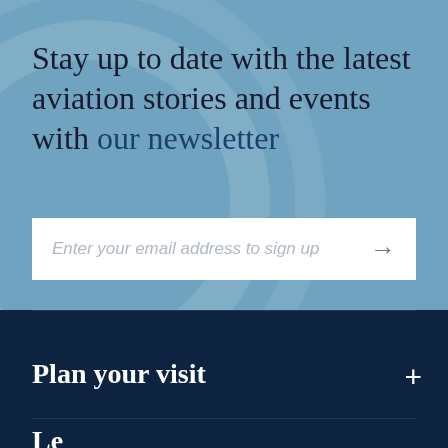Stay up to date with the latest aviation stories and events with our newsletter
Enter your email address to sign up →
Plan your visit
Learn more